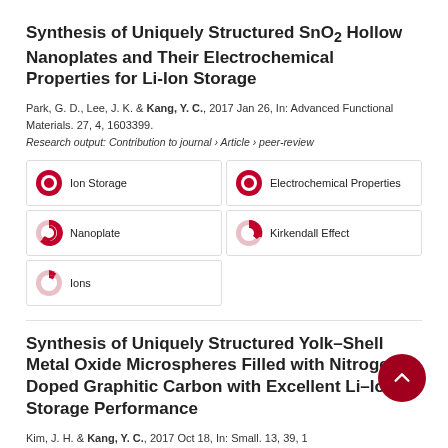Synthesis of Uniquely Structured SnO₂ Hollow Nanoplates and Their Electrochemical Properties for Li-Ion Storage
Park, G. D., Lee, J. K. & Kang, Y. C., 2017 Jan 26, In: Advanced Functional Materials. 27, 4, 1603399.
Research output: Contribution to journal › Article › peer-review
Ion Storage | Electrochemical Properties | Nanoplate | Kirkendall Effect | Ions
Synthesis of Uniquely Structured Yolk–Shell Metal Oxide Microspheres Filled with Nitrogen-Doped Graphitic Carbon with Excellent Li–Ion Storage Performance
Kim, J. H. & Kang, Y. C., 2017 Oct 18, In: Small. 13, 39, 1
Research output: Contribution to journal › Article › peer-review